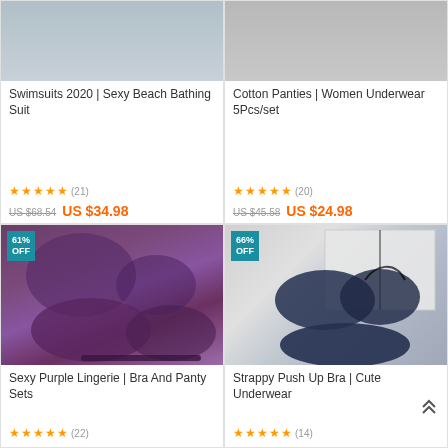[Figure (photo): Swimsuit product photo (partial, top cropped)]
Swimsuits 2020 | Sexy Beach Bathing Suit
★★★★★ (21)
US $68.54  US $34.98
[Figure (photo): Cotton panties product photo (partial, top cropped)]
Cotton Panties | Women Underwear 5Pcs/set
★★★★★ (20)
US $45.58  US $24.98
[Figure (photo): Purple lingerie bra and panty set product photo with 61% OFF badge]
61% OFF
Sexy Purple Lingerie | Bra And Panty Sets
★★★★★ (22)
[Figure (photo): Navy blue strappy push up bra set product photo with 66% OFF badge]
66% OFF
Strappy Push Up Bra | Cute Underwear
★★★★★ (14)